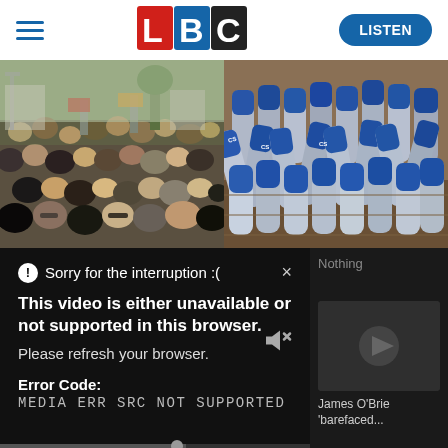[Figure (logo): LBC logo with red L, blue B, black C on white background]
[Figure (photo): Large crowd of people at a protest or march, street scene]
[Figure (photo): Pile of blue and silver aerosol canisters in a box]
Sorry for the interruption :(
This video is either unavailable or not supported in this browser. Please refresh your browser.
Error Code: MEDIA ERR SRC NOT SUPPORTED
Nothing
James O'Brie 'barefaced...